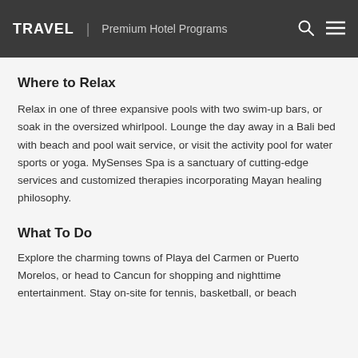TRAVEL | Premium Hotel Programs
Where to Relax
Relax in one of three expansive pools with two swim-up bars, or soak in the oversized whirlpool. Lounge the day away in a Bali bed with beach and pool wait service, or visit the activity pool for water sports or yoga. MySenses Spa is a sanctuary of cutting-edge services and customized therapies incorporating Mayan healing philosophy.
What To Do
Explore the charming towns of Playa del Carmen or Puerto Morelos, or head to Cancun for shopping and nighttime entertainment. Stay on-site for tennis, basketball, or beach volleyball, or head to El Tigre golf course, a par 10…